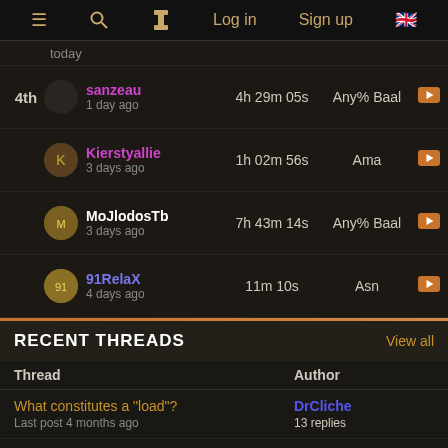≡  🔍  ⏱  Log in  Sign up  🇬🇧
today
| Rank | User | Time | Category | Video |
| --- | --- | --- | --- | --- |
| 4th | sanzeau
1 day ago | 4h 29m 05s | Any% Baal | ▶ |
|  | Kierstyallie
3 days ago | 1h 02m 56s | Ama | ▶ |
|  | MoJlodosTb
3 days ago | 7h 43m 14s | Any% Baal | ▶ |
|  | 91RelaX
4 days ago | 11m 10s | Asn | ▶ |
RECENT THREADS
View all
| Thread | Author |
| --- | --- |
| What constitutes a "load"?
Last post 4 months ago | DrCliche
13 replies |
| -act5 runs
Last post 4 months ago | blazer-flamewing
4 replies |
| Made changes and built co-op board | Indrek |